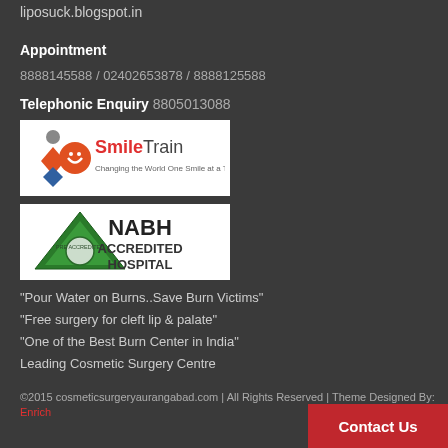liposuck.blogspot.in
Appointment
8888145588 / 02402653878 / 8888125588
Telephonic Enquiry 8805013088
[Figure (logo): SmileTrain logo - Changing the World One Smile at a Time]
[Figure (logo): NABH Accredited Hospital logo with green triangle]
"Pour Water on Burns..Save Burn Victims"
"Free surgery for cleft lip & palate"
"One of the Best Burn Center in India"
Leading Cosmetic Surgery Centre
©2015 cosmeticsurgeryaurangabad.com | All Rights Reserved | Theme Designed By: Enrich
Contact Us